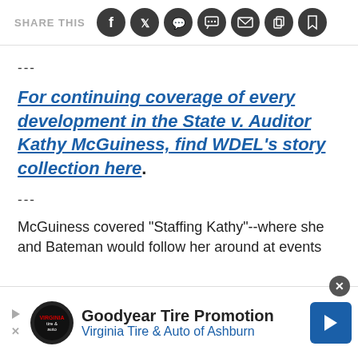SHARE THIS
---
For continuing coverage of every development in the State v. Auditor Kathy McGuiness, find WDEL's story collection here.
---
McGuiness covered "Staffing Kathy"--where she and Bateman would follow her around at events
[Figure (screenshot): Goodyear Tire Promotion advertisement banner - Virginia Tire & Auto of Ashburn]